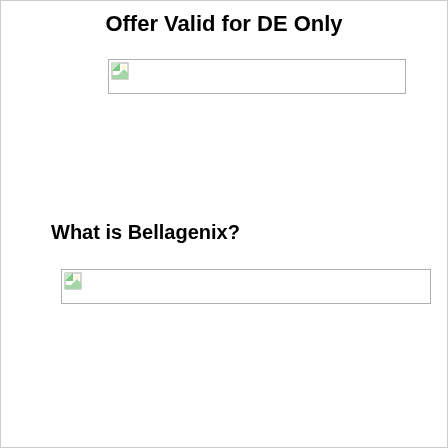Offer Valid for DE Only
[Figure (illustration): Broken image placeholder (wide banner image, failed to load)]
What is Bellagenix?
[Figure (illustration): Broken image placeholder (wide banner image, failed to load)]